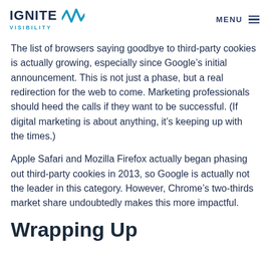IGNITE VISIBILITY | MENU
The list of browsers saying goodbye to third-party cookies is actually growing, especially since Google’s initial announcement. This is not just a phase, but a real redirection for the web to come. Marketing professionals should heed the calls if they want to be successful. (If digital marketing is about anything, it’s keeping up with the times.)
Apple Safari and Mozilla Firefox actually began phasing out third-party cookies in 2013, so Google is actually not the leader in this category. However, Chrome’s two-thirds market share undoubtedly makes this more impactful.
Wrapping Up